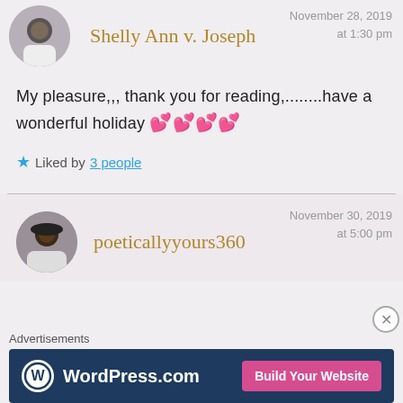Shelly Ann v. Joseph
November 28, 2019 at 1:30 pm
My pleasure,,, thank you for reading,........have a wonderful holiday 💕💕💕💕
★ Liked by 3 people
poeticallyyours360
November 30, 2019 at 5:00 pm
Advertisements WordPress.com Build Your Website